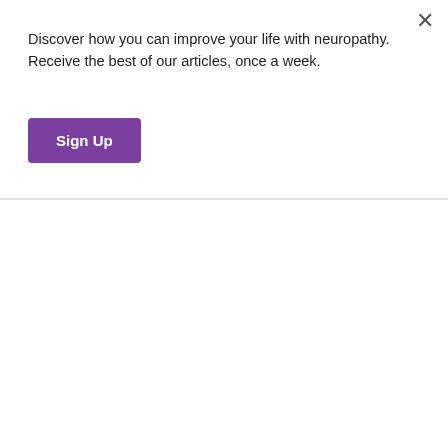Discover how you can improve your life with neuropathy. Receive the best of our articles, once a week.
Sign Up
action potential must cross a synapse.
These are little spaces between your nerve endings that the signal jumps across. As it reaches the synapse, the action potential causes the release of something called a neurotransmitter, which is a chemical messenger that aids in the sending of nerve impulses.
As the neurotransmitter crosses the